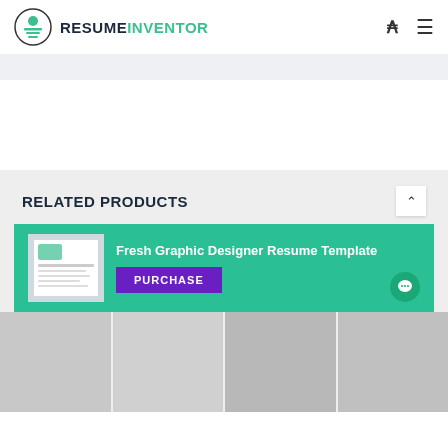[Figure (logo): ResumeInventor logo with circular icon and text]
RELATED PRODUCTS
[Figure (screenshot): Teal promotional banner for Fresh Graphic Designer Resume Template with purchase button]
Fresh Graphic Designer Resume Template
PURCHASE